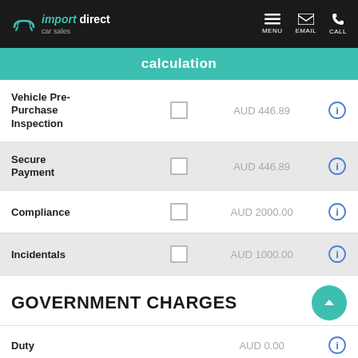import direct car sales — MENU EMAIL CALL
calculation
| Item | Checkbox | Amount | Info |
| --- | --- | --- | --- |
| Vehicle Pre-Purchase Inspection |  | AUD 446.89 | ℹ |
| Secure Payment |  | AUD 446.89 | ℹ |
| Compliance |  | AUD 2000.00 | ℹ |
| Incidentals |  | AUD 1000.00 | ℹ |
GOVERNMENT CHARGES
| Item | Amount | Info |
| --- | --- | --- |
| Duty | AUD 0.00 | ℹ |